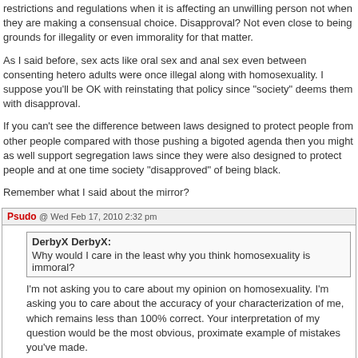restrictions and regulations when it is affecting an unwilling person not when they are making a consensual choice. Disapproval? Not even close to being grounds for illegality or even immorality for that matter.
As I said before, sex acts like oral sex and anal sex even between consenting hetero adults were once illegal along with homosexuality. I suppose you'll be OK with reinstating that policy since "society" deems them with disapproval.
If you can't see the difference between laws designed to protect people from other people compared with those pushing a bigoted agenda then you might as well support segregation laws since they were also designed to protect people and at one time society "disapproved" of being black.
Remember what I said about the mirror?
Psudo @ Wed Feb 17, 2010 2:32 pm
DerbyX DerbyX: Why would I care in the least why you think homosexuality is immoral?
I'm not asking you to care about my opinion on homosexuality. I'm asking you to care about the accuracy of your characterization of me, which remains less than 100% correct. Your interpretation of my question would be the most obvious, proximate example of mistakes you've made.
DerbyX DerbyX: The difference is your statement is about what other people are doing not